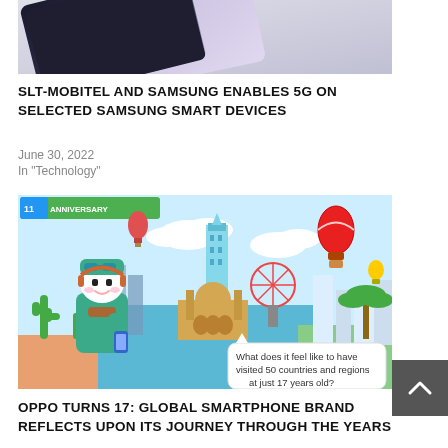[Figure (photo): Close-up photo of Samsung smartphone devices at an angle, showing sleek phone edges in purple/silver tones against a light grey background]
SLT-MOBITEL AND SAMSUNG ENABLES 5G ON SELECTED SAMSUNG SMART DEVICES
June 30, 2022
In "Technology"
[Figure (illustration): Colorful cartoon illustration of a character in a green outfit with headphones holding a smartphone, standing in front of a global cityscape with hot air balloons and a speech bubble reading 'What does it feel like to have visited 50 countries and regions at just 17 years old?' with '11th ANNIVERSARY' banner at top]
OPPO TURNS 17: GLOBAL SMARTPHONE BRAND REFLECTS UPON ITS JOURNEY THROUGH THE YEARS